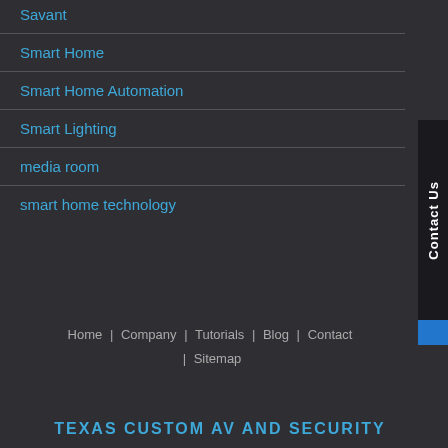Savant
Smart Home
Smart Home Automation
Smart Lighting
media room
smart home technology
Contact Us
Home | Company | Tutorials | Blog | Contact | Sitemap
TEXAS CUSTOM AV AND SECURITY